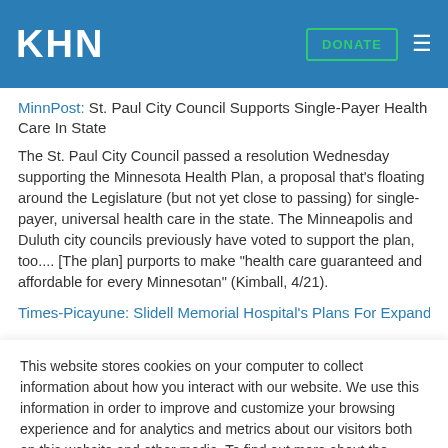KHN | DONATE
MinnPost: St. Paul City Council Supports Single-Payer Health Care In State
The St. Paul City Council passed a resolution Wednesday supporting the Minnesota Health Plan, a proposal that's floating around the Legislature (but not yet close to passing) for single-payer, universal health care in the state. The Minneapolis and Duluth city councils previously have voted to support the plan, too.... [The plan] purports to make "health care guaranteed and affordable for every Minnesotan" (Kimball, 4/21).
Times-Picayune: Slidell Memorial Hospital's Plans For Expanded
This website stores cookies on your computer to collect information about how you interact with our website. We use this information in order to improve and customize your browsing experience and for analytics and metrics about our visitors both on this website and other media. To find out more about the cookies we use, see our Privacy Policy.